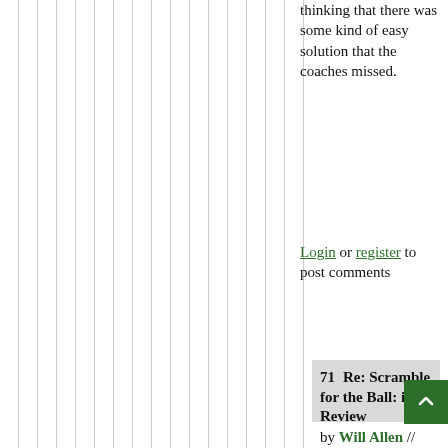thinking that there was some kind of easy solution that the coaches missed.
Login or register to post comments
71  Re: Scramble for the Ball: in Review
by Will Allen // Feb